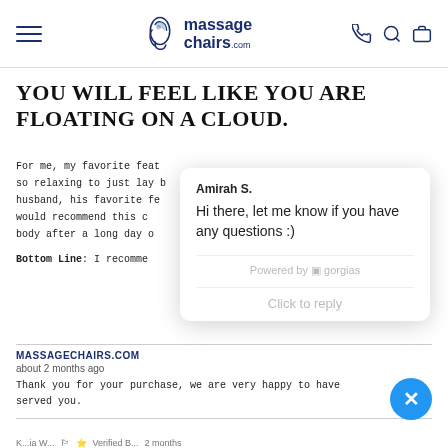[Figure (logo): massagechairs.com logo with hamburger menu and nav icons]
YOU WILL FEEL LIKE YOU ARE FLOATING ON A CLOUD.
For me, my favorite feat... so relaxing to just lay b... husband, his favorite fe... would recommend this c... body after a long day...
Bottom Line: I recomme...
[Figure (screenshot): Chat popup from Amirah S. saying Hi there, let me know if you have any questions :) Powered by gorgias. Click to reply.]
MASSAGECHAIRS.COM
about 2 months ago
Thank you for your purchase, we are very happy to have served you.
Partial bottom row with reviewer info